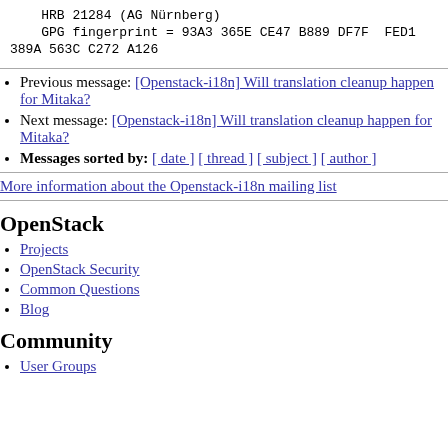HRB 21284 (AG Nürnberg)
    GPG fingerprint = 93A3 365E CE47 B889 DF7F  FED1 389A 563C C272 A126
Previous message: [Openstack-i18n] Will translation cleanup happen for Mitaka?
Next message: [Openstack-i18n] Will translation cleanup happen for Mitaka?
Messages sorted by: [ date ] [ thread ] [ subject ] [ author ]
More information about the Openstack-i18n mailing list
OpenStack
Projects
OpenStack Security
Common Questions
Blog
Community
User Groups